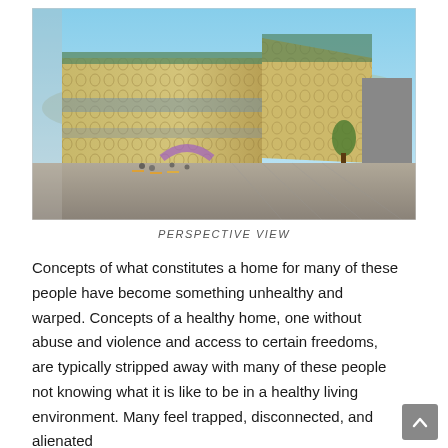[Figure (photo): Architectural perspective view of a modern building with a distinctive honeycomb/mesh patterned facade in gold/tan tones, multiple stories, with people and outdoor furniture visible at the base, blue sky background with mountains.]
PERSPECTIVE VIEW
Concepts of what constitutes a home for many of these people have become something unhealthy and warped. Concepts of a healthy home, one without abuse and violence and access to certain freedoms, are typically stripped away with many of these people not knowing what it is like to be in a healthy living environment. Many feel trapped, disconnected, and alienated